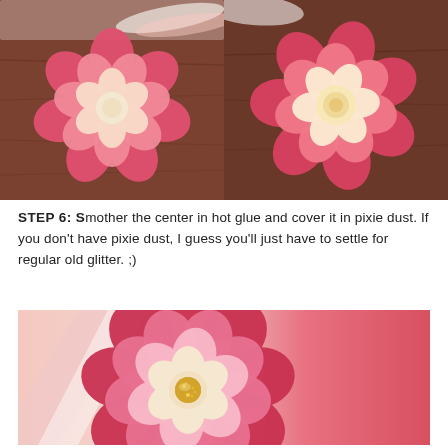[Figure (photo): Paper flower with pink and cream petals on a wooden table, before glitter, smaller view]
[Figure (photo): Paper flower with pink and cream petals on a wooden table, before glitter, slightly different angle]
STEP 6: Smother the center in hot glue and cover it in pixie dust. If you don't have pixie dust, I guess you'll just have to settle for regular old glitter. ;)
[Figure (photo): Close-up of paper flower with layered pink petals and gold glitter center on a pink background]